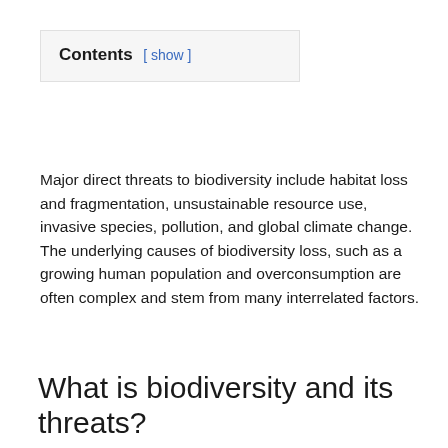Major direct threats to biodiversity include habitat loss and fragmentation, unsustainable resource use, invasive species, pollution, and global climate change. The underlying causes of biodiversity loss, such as a growing human population and overconsumption are often complex and stem from many interrelated factors.
What is biodiversity and its threats?